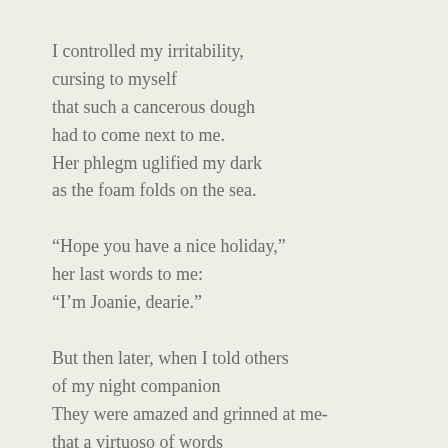I controlled my irritability,
cursing to myself
that such a cancerous dough
had to come next to me.
Her phlegm uglified my dark
as the foam folds on the sea.

“Hope you have a nice holiday,”
her last words to me:
“I’m Joanie, dearie.”

But then later, when I told others
of my night companion
They were amazed and grinned at me-
that a virtuoso of words
should be stumped like this!

A contemporary Jeanne d’Arc
on her way to the coffin